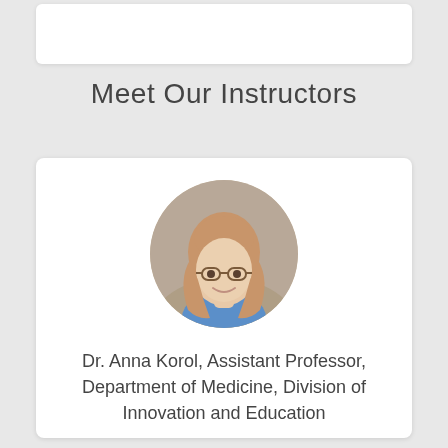[Figure (other): Partially visible white card at the top of the page]
Meet Our Instructors
[Figure (photo): Circular portrait photo of Dr. Anna Korol, a young woman with long hair and glasses, smiling, outdoors with blurred green background]
Dr. Anna Korol, Assistant Professor, Department of Medicine, Division of Innovation and Education